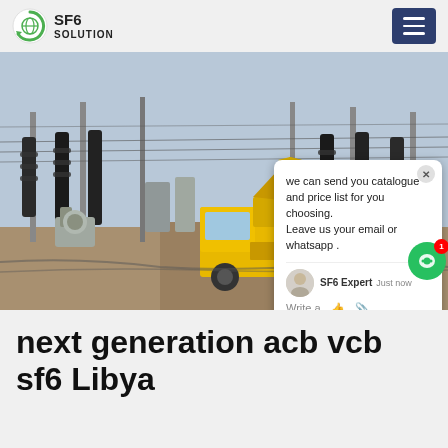SF6 SOLUTION
[Figure (photo): An electrical substation with high-voltage insulators, transmission towers, and a yellow ISUZU service truck parked in the foreground. A live chat popup overlay is visible on the right side of the image reading: 'we can send you catalogue and price list for you choosing. Leave us your email or whatsapp .' with SF6 Expert agent, just now, and Write a message area.]
next generation acb vcb sf6 Libya